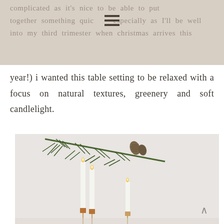complicated as it's nice to be able to put together something quick (especially as I'll be well into my third trimester when christmas arrives this year!) i wanted this table setting to be relaxed with a focus on natural textures, greenery and soft candlelight.
[Figure (photo): Photo of white taper candles in copper/gold candlestick holders with pine branch greenery in the background, against a light grey wall. Minimalist Christmas table setting.]